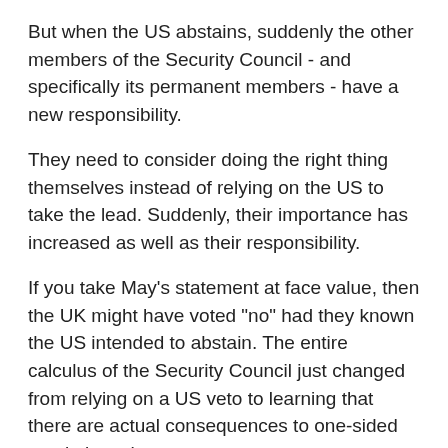But when the US abstains, suddenly the other members of the Security Council - and specifically its permanent members - have a new responsibility.
They need to consider doing the right thing themselves instead of relying on the US to take the lead. Suddenly, their importance has increased as well as their responsibility.
If you take May's statement at face value, then the UK might have voted "no" had they known the US intended to abstain. The entire calculus of the Security Council just changed from relying on a US veto to learning that there are actual consequences to one-sided resolutions that pass.
The US just created another leadership vacuum.  By childishly trying to teach Israel a lesson, President Obama has abdicated the US role as the de facto leader in helping the moribund peace process. John Kerry just made sure that US influence on Israel has lessened.
What national leader doesn't want to fill a leadership